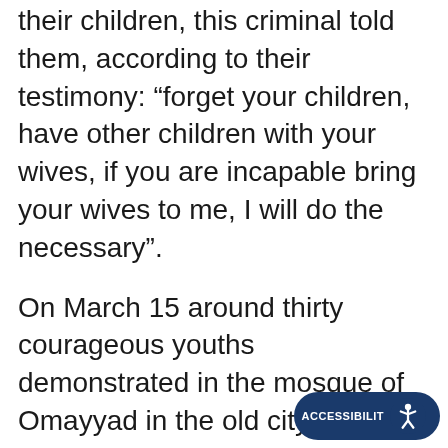their children, this criminal told them, according to their testimony: “forget your children, have other children with your wives, if you are incapable bring your wives to me, I will do the necessary”.
On March 15 around thirty courageous youths demonstrated in the mosque of Omayyad in the old city of Damascus, demanding freedom and dignity, with a new slogan “Allah, Syria and freedom only”. All were arrested and are still in detention. But it was in the martyr town of Daara that the revolutionary process